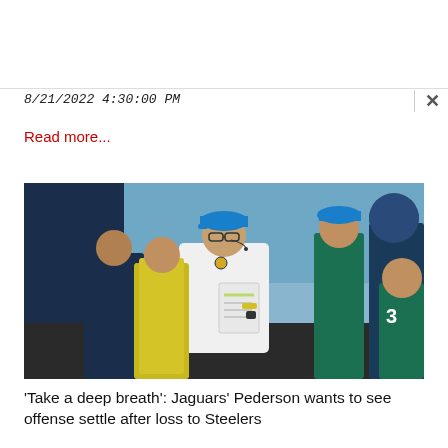8/21/2022 4:30:00 PM
Read more...
[Figure (photo): A football coach wearing a white long-sleeve shirt and a teal/blue Jaguars baseball cap and headset, holding papers on the sideline. Surrounded by players and staff in Jacksonville Jaguars uniforms.]
'Take a deep breath': Jaguars' Pederson wants to see offense settle after loss to Steelers